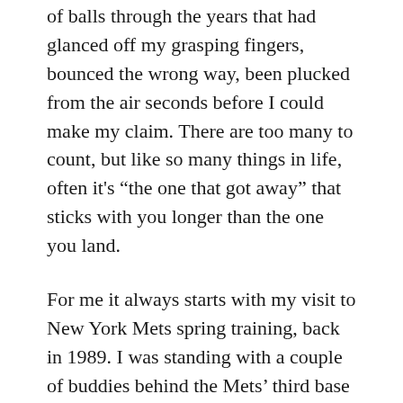of balls through the years that had glanced off my grasping fingers, bounced the wrong way, been plucked from the air seconds before I could make my claim. There are too many to count, but like so many things in life, often it’s “the one that got away” that sticks with you longer than the one you land.
For me it always starts with my visit to New York Mets spring training, back in 1989. I was standing with a couple of buddies behind the Mets’ third base dugout as pregame infield drills were concluding. Baseball fans know this drill by heart, as each infielder fires their final grounder back to the catcher before trotting off the field.